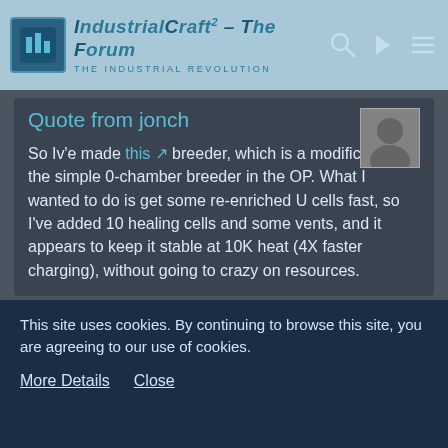IndustrialCraft² - The Forum · The Industrial Revolution
Quote from jonch
So Iv'e made this breeder, which is a modification to the simple 0-chamber breeder in the OP. What I wanted to do is get some re-enriched U cells fast, so I've added 10 healing cells and some vents, and it appears to keep it stable at 10K heat (4X faster charging), without going to crazy on resources.
Stable breeder is one that stays stable no matter what will hapen with its components. When thorium cell burns out in your reactor, components will melt.
I this it would be much better to use this simple
This site uses cookies. By continuing to browse this site, you are agreeing to our use of cookies.
More Details   Close